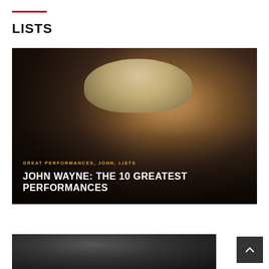LISTS
[Figure (photo): John Wayne in western attire — cowboy hat, bandana, sheriff badge — looking to his right in a dark western scene. Overlay text reads: GREAT PERFORMANCES, JOHN, LISTS / JOHN WAYNE: THE 10 GREATEST PERFORMANCES]
GREAT PERFORMANCES, JOHN, LISTS
JOHN WAYNE: THE 10 GREATEST PERFORMANCES
[Figure (photo): Black and white photo partially visible at the bottom of the page, showing a person's face/head in a cinematic still.]